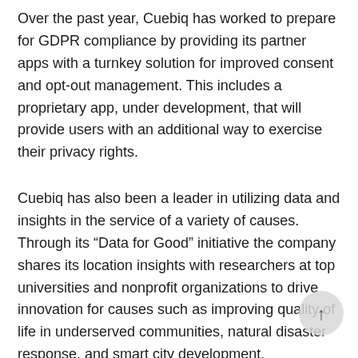Over the past year, Cuebiq has worked to prepare for GDPR compliance by providing its partner apps with a turnkey solution for improved consent and opt-out management. This includes a proprietary app, under development, that will provide users with an additional way to exercise their privacy rights.
Cuebiq has also been a leader in utilizing data and insights in the service of a variety of causes. Through its “Data for Good” initiative the company shares its location insights with researchers at top universities and nonprofit organizations to drive innovation for causes such as improving quality of life in underserved communities, natural disaster response, and smart city development.